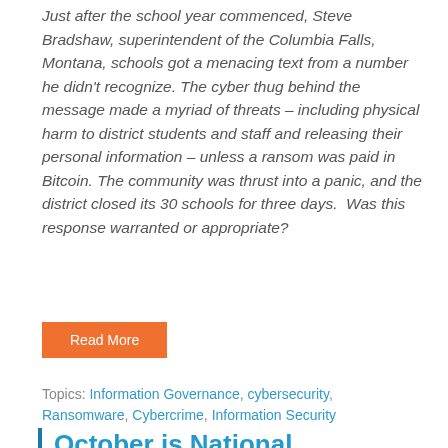Just after the school year commenced, Steve Bradshaw, superintendent of the Columbia Falls, Montana, schools got a menacing text from a number he didn't recognize. The cyber thug behind the message made a myriad of threats – including physical harm to district students and staff and releasing their personal information – unless a ransom was paid in Bitcoin. The community was thrust into a panic, and the district closed its 30 schools for three days.  Was this response warranted or appropriate?
Read More
Topics: Information Governance, cybersecurity, Ransomware, Cybercrime, Information Security
October is National Cybersecurity Awareness Month